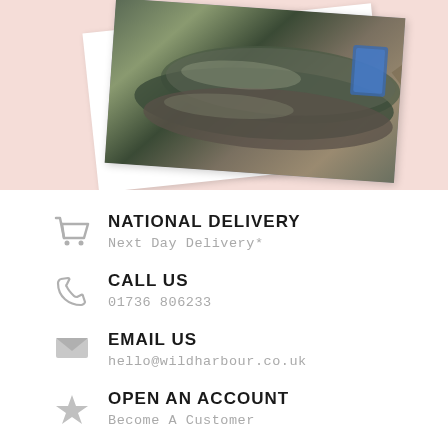[Figure (photo): Two overlapping Polaroid-style photos of fresh fish (sea bass/similar) on a pink background]
NATIONAL DELIVERY
Next Day Delivery*
CALL US
01736 806233
EMAIL US
hello@wildharbour.co.uk
OPEN AN ACCOUNT
Become A Customer